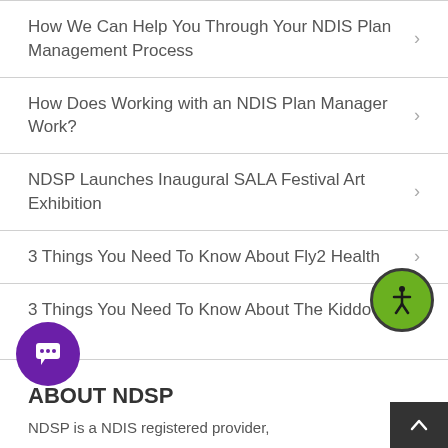How We Can Help You Through Your NDIS Plan Management Process
How Does Working with an NDIS Plan Manager Work?
NDSP Launches Inaugural SALA Festival Art Exhibition
3 Things You Need To Know About Fly2 Health
3 Things You Need To Know About The Kiddo App
ABOUT NDSP
NDSP is a NDIS registered provider,